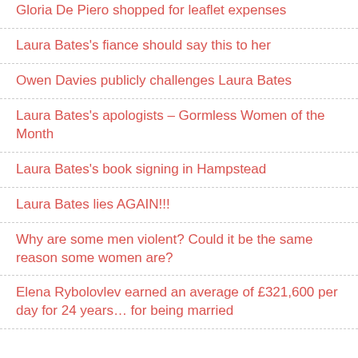Gloria De Piero shopped for leaflet expenses
Laura Bates's fiance should say this to her
Owen Davies publicly challenges Laura Bates
Laura Bates's apologists – Gormless Women of the Month
Laura Bates's book signing in Hampstead
Laura Bates lies AGAIN!!!
Why are some men violent? Could it be the same reason some women are?
Elena Rybolovlev earned an average of £321,600 per day for 24 years… for being married